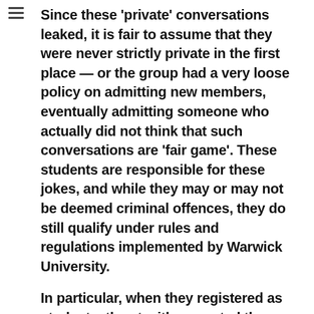Since these 'private' conversations leaked, it is fair to assume that they were never strictly private in the first place — or the group had a very loose policy on admitting new members, eventually admitting someone who actually did not think that such conversations are 'fair game'. These students are responsible for these jokes, and while they may or may not be deemed criminal offences, they do still qualify under rules and regulations implemented by Warwick University.
In particular, when they registered as students, they tacitly accepted the following, which can be found in Warwick's Code of Conduct:
Students must:
1. Abide by the responsibilities and behaviours...